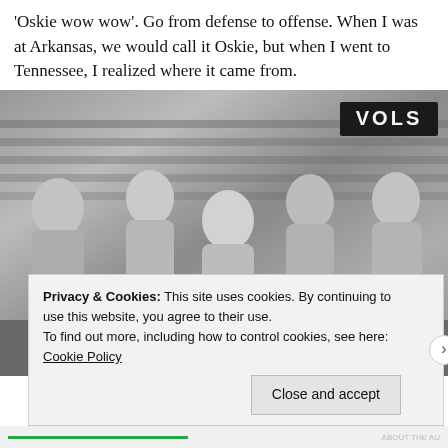'Oskie wow wow'. Go from defense to offense. When I was at Arkansas, we would call it Oskie, but when I went to Tennessee, I realized where it came from.
[Figure (photo): Black and white photograph of five men posing together, likely a football coaching staff or players, with a 'VOLS' sign visible in the upper right background.]
Privacy & Cookies: This site uses cookies. By continuing to use this website, you agree to their use.
To find out more, including how to control cookies, see here: Cookie Policy